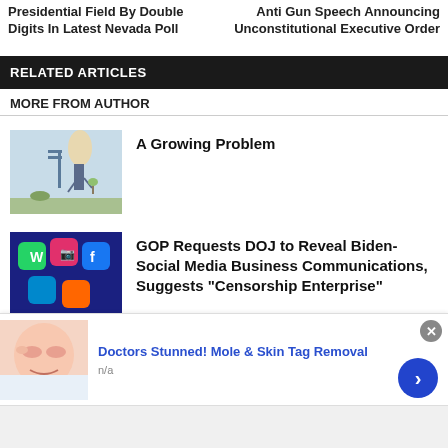Presidential Field By Double Digits In Latest Nevada Poll
Anti Gun Speech Announcing Unconstitutional Executive Order
RELATED ARTICLES
MORE FROM AUTHOR
[Figure (illustration): Cartoon illustration of a tall man with elongated head watering a small plant near a signpost]
A Growing Problem
[Figure (photo): Photo of colorful social media app icon cubes piled together]
GOP Requests DOJ to Reveal Biden-Social Media Business Communications, Suggests “Censorship Enterprise”
[Figure (illustration): Illustration of a woman’s face with eyes closed]
Doctors Stunned! Mole & Skin Tag Removal
n/a